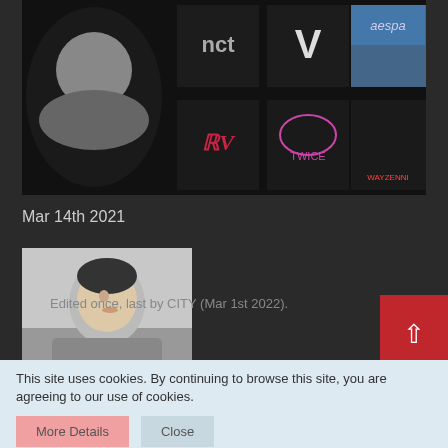[Figure (photo): Dark banner image showing K-pop group logos and artist images including NCT, V (BTS), LOONA, aespa, Red Velvet, TWICE, Jimin (BTS), and WayZenni logos/photos arranged in a grid on black background]
Mar 14th 2021
[Figure (photo): Profile photo of a young male person wearing a gray hoodie, looking upward, on a light background]
Edited once, last by CITY (Mar 1st 2022).
This site uses cookies. By continuing to browse this site, you are agreeing to our use of cookies.